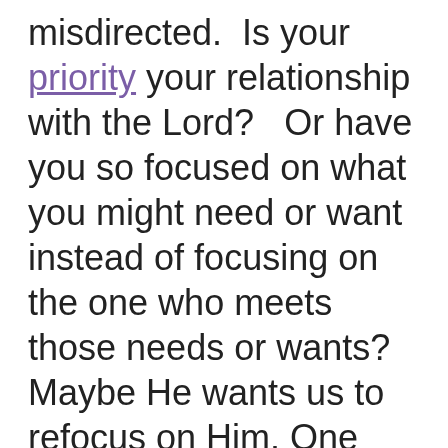misdirected.  Is your priority your relationship with the Lord?   Or have you so focused on what you might need or want instead of focusing on the one who meets those needs or wants?  Maybe He wants us to refocus on Him. One way we can refocus on Him is